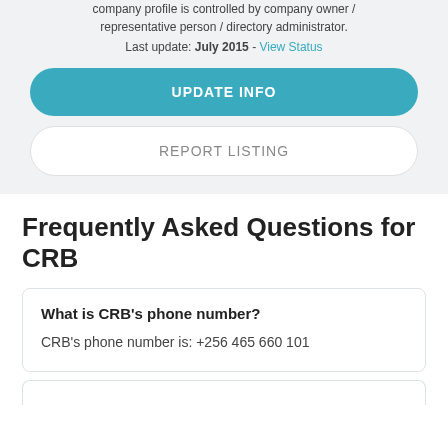company profile is controlled by company owner / representative person / directory administrator.
Last update: July 2015 - View Status
UPDATE INFO
REPORT LISTING
Frequently Asked Questions for CRB
What is CRB's phone number?
CRB's phone number is: +256 465 660 101